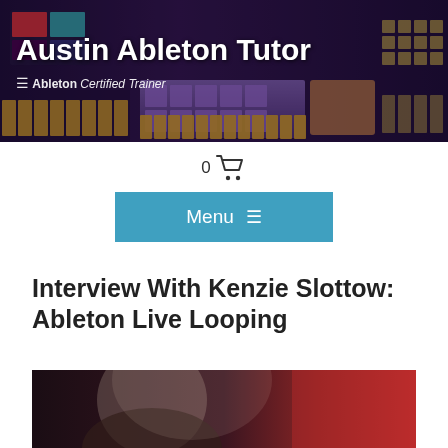[Figure (photo): Austin Ableton Tutor website header banner showing music production equipment (MIDI controllers, keyboards, drum pads) with text 'Austin Ableton Tutor' and 'Ableton Certified Trainer']
0 🛒
Menu ≡
Interview With Kenzie Slottow: Ableton Live Looping
[Figure (photo): Partial photo showing a person in a dark setting with reddish lighting, related to live looping performance]